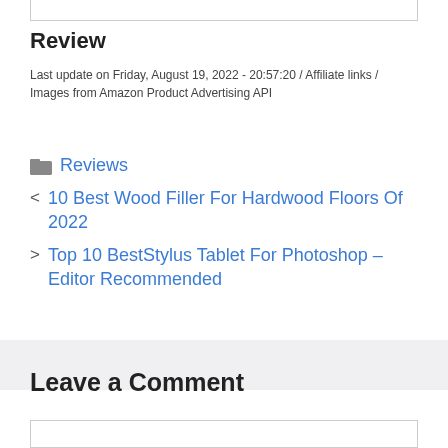Review
Last update on Friday, August 19, 2022 - 20:57:20 / Affiliate links / Images from Amazon Product Advertising API
Reviews
< 10 Best Wood Filler For Hardwood Floors Of 2022
> Top 10 BestStylus Tablet For Photoshop – Editor Recommended
Leave a Comment